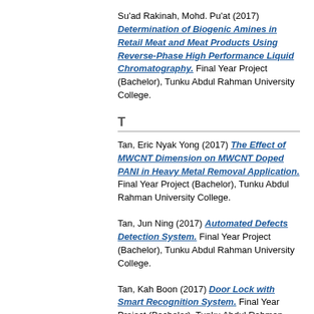Su'ad Rakinah, Mohd. Pu'at (2017) Determination of Biogenic Amines in Retail Meat and Meat Products Using Reverse-Phase High Performance Liquid Chromatography. Final Year Project (Bachelor), Tunku Abdul Rahman University College.
T
Tan, Eric Nyak Yong (2017) The Effect of MWCNT Dimension on MWCNT Doped PANI in Heavy Metal Removal Application. Final Year Project (Bachelor), Tunku Abdul Rahman University College.
Tan, Jun Ning (2017) Automated Defects Detection System. Final Year Project (Bachelor), Tunku Abdul Rahman University College.
Tan, Kah Boon (2017) Door Lock with Smart Recognition System. Final Year Project (Bachelor), Tunku Abdul Rahman University College.
Tan, Ling Lian (2017) Determination of Biogenic Amines in Fermented Meat Products Sold in Malaysia by using